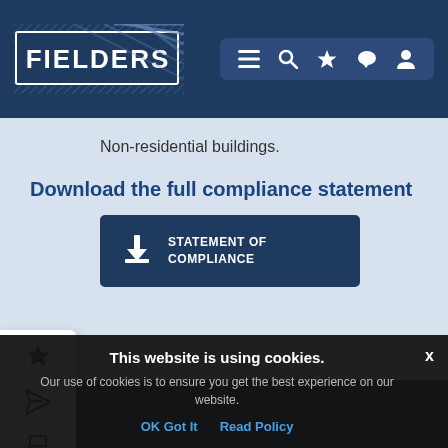[Figure (logo): Fielders logo - white text on dark blue background with diagonal line pattern]
[Figure (screenshot): Navigation icons bar with hamburger menu, search, star, chat, and user profile icons]
Non-residential buildings.
Download the full compliance statement
[Figure (other): Dark navy button with download icon and text STATEMENT OF COMPLIANCE]
[Figure (screenshot): Side toolbar with star, send, print, and help icons]
This website is using cookies.
Our use of cookies is to ensure you get the best experience on our website.
OK Got It   Read Policy